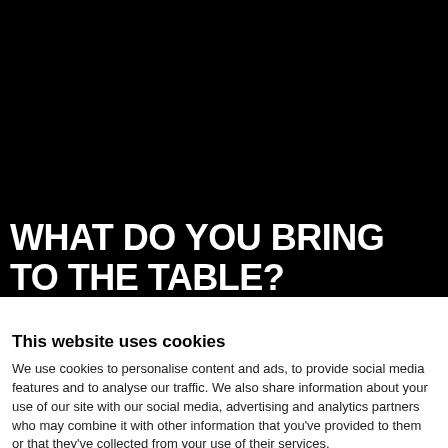[Figure (photo): Black background area representing a website hero image]
WHAT DO YOU BRING TO THE TABLE?
This website uses cookies
We use cookies to personalise content and ads, to provide social media features and to analyse our traffic. We also share information about your use of our site with our social media, advertising and analytics partners who may combine it with other information that you've provided to them or that they've collected from your use of their services.
Use necessary cookies only
Allow all cookies
Show details